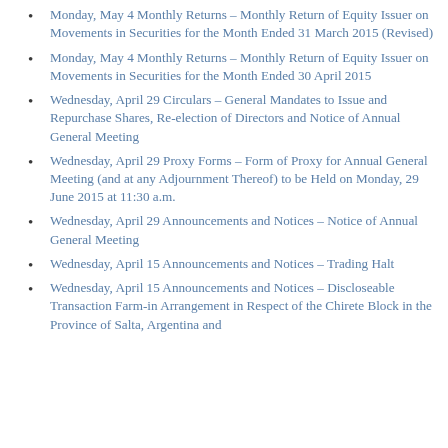Ended 31 May 2015
Monday, May 4 Monthly Returns – Monthly Return of Equity Issuer on Movements in Securities for the Month Ended 31 March 2015 (Revised)
Monday, May 4 Monthly Returns – Monthly Return of Equity Issuer on Movements in Securities for the Month Ended 30 April 2015
Wednesday, April 29 Circulars – General Mandates to Issue and Repurchase Shares, Re-election of Directors and Notice of Annual General Meeting
Wednesday, April 29 Proxy Forms – Form of Proxy for Annual General Meeting (and at any Adjournment Thereof) to be Held on Monday, 29 June 2015 at 11:30 a.m.
Wednesday, April 29 Announcements and Notices – Notice of Annual General Meeting
Wednesday, April 15 Announcements and Notices – Trading Halt
Wednesday, April 15 Announcements and Notices – Discloseable Transaction Farm-in Arrangement in Respect of the Chirete Block in the Province of Salta, Argentina and